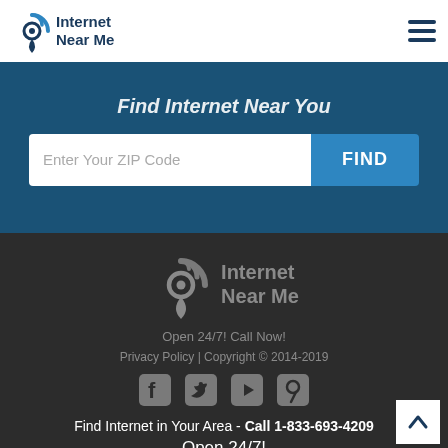Internet Near Me
Find Internet Near You
Enter Your ZIP Code | FIND
[Figure (logo): Internet Near Me footer logo in gray]
Open 24/7! Call Now!
Privacy Policy | Copyright © 2014-2019
[Figure (other): Social media icons: Facebook, Twitter, YouTube, Pinterest]
Find Internet in Your Area - Call 1-833-693-4209
Open 24/7!